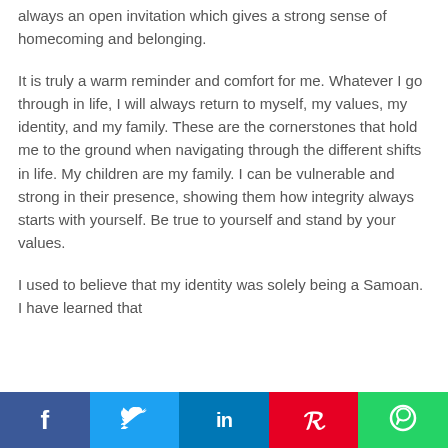always an open invitation which gives a strong sense of homecoming and belonging.
It is truly a warm reminder and comfort for me. Whatever I go through in life, I will always return to myself, my values, my identity, and my family. These are the cornerstones that hold me to the ground when navigating through the different shifts in life. My children are my family. I can be vulnerable and strong in their presence, showing them how integrity always starts with yourself. Be true to yourself and stand by your values.
I used to believe that my identity was solely being a Samoan. I have learned that
[Figure (infographic): Social media share bar with five buttons: Facebook (dark blue), Twitter (light blue), LinkedIn (blue), Pinterest (red), WhatsApp (green)]